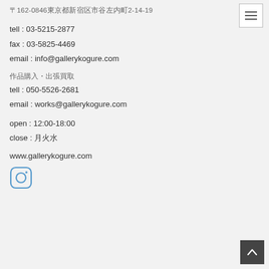〒162-0846東京都新宿区市谷左内町2-14-19
tell : 03-5215-2877
fax : 03-5825-4469
email : info@gallerykogure.com
作品購入・出張買取
tell : 050-5526-2681
email : works@gallerykogure.com
open : 12:00-18:00
close : 月火水
www.gallerykogure.com
[Figure (logo): Instagram icon - rounded square outline with circle and dot inside]